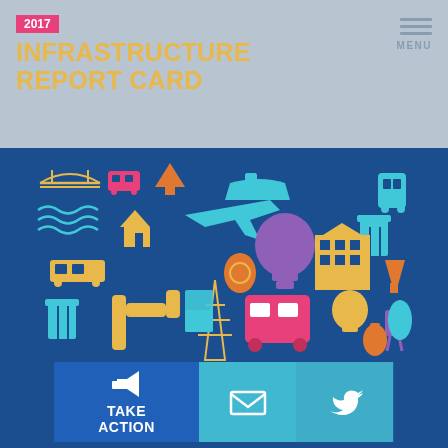2017 INFRASTRUCTURE REPORT CARD
[Figure (infographic): USA map silhouette made up of colorful infrastructure icons including bridges, trains, buses, planes, buildings, water towers, power lines, light bulbs, trash cans, pipes, and other infrastructure symbols in yellow, pink, teal, orange, purple, and blue on a dark blue background]
TAKE ACTION